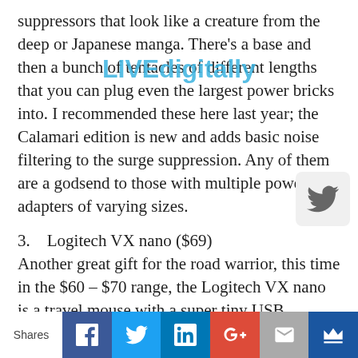suppressors that look like a creature from the deep or Japanese manga. There's a base and then a bunch of tentacles of different lengths that you can plug even the largest power bricks into. I recommended these here last year; the Calamari edition is new and adds basic noise filtering to the surge suppression. Any of them are a godsend to those with multiple power adapters of varying sizes.
3.    Logitech VX nano ($69)
Another great gift for the road warrior, this time in the $60 – $70 range, the Logitech VX nano is a travel mouse with a super tiny USB transmitter that can stay put in your laptop at all times. This means you can leave the adapter in and close your laptop, put the laptop in a bag, take it out later, and go again without having to wait for drivers to load
Shares  [Facebook] [Twitter] [LinkedIn] [Google+] [Email] [Crown]